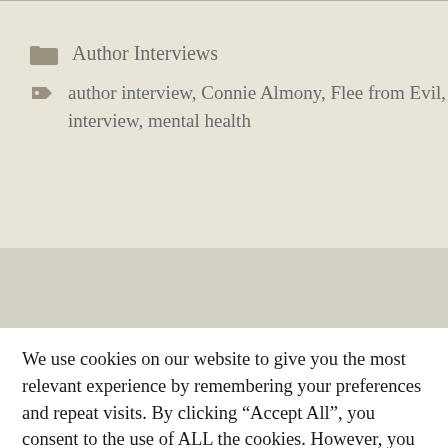Author Interviews
author interview, Connie Almony, Flee from Evil, interview, mental health
We use cookies on our website to give you the most relevant experience by remembering your preferences and repeat visits. By clicking “Accept All”, you consent to the use of ALL the cookies. However, you may visit "Cookie Settings" to provide a controlled consent.
Cookie Settings | Accept All